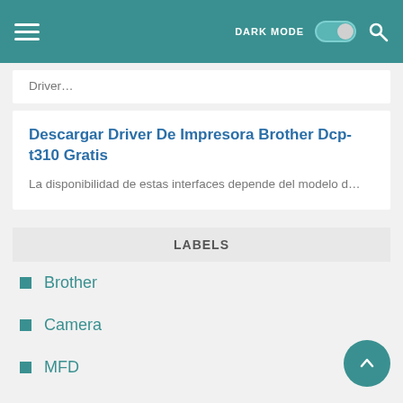DARK MODE [toggle] [search]
Driver…
Descargar Driver De Impresora Brother Dcp-t310 Gratis
La disponibilidad de estas interfaces depende del modelo d…
LABELS
Brother
Camera
MFD
Printer
Scanner